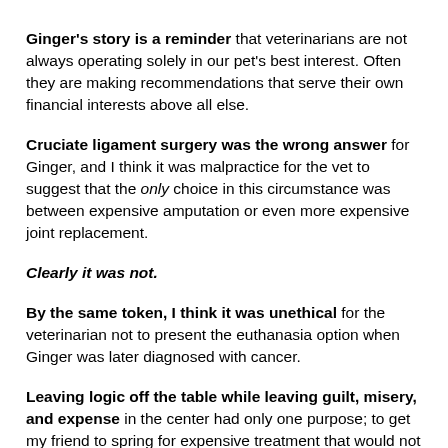Ginger's story is a reminder that veterinarians are not always operating solely in our pet's best interest. Often they are making recommendations that serve their own financial interests above all else.
Cruciate ligament surgery was the wrong answer for Ginger, and I think it was malpractice for the vet to suggest that the only choice in this circumstance was between expensive amputation or even more expensive joint replacement.
Clearly it was not.
By the same token, I think it was unethical for the veterinarian not to present the euthanasia option when Ginger was later diagnosed with cancer.
Leaving logic off the table while leaving guilt, misery, and expense in the center had only one purpose; to get my friend to spring for expensive treatment that would not benefit the dog, but would financially benefit the veterinarian